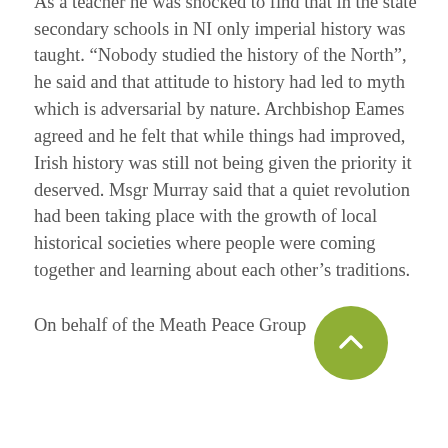problems of history teaching in Northern Ireland.  As a teacher he was shocked to find that in the state secondary schools in NI only imperial history was taught. “Nobody studied the history of the North”, he said and that attitude to history had led to myth which is adversarial by nature. Archbishop Eames agreed and he felt that while things had improved, Irish history was still not being given the priority it deserved. Msgr Murray said that a quiet revolution had been taking place with the growth of local historical societies where people were coming together and learning about each other’s traditions.

On behalf of the Meath Peace Group